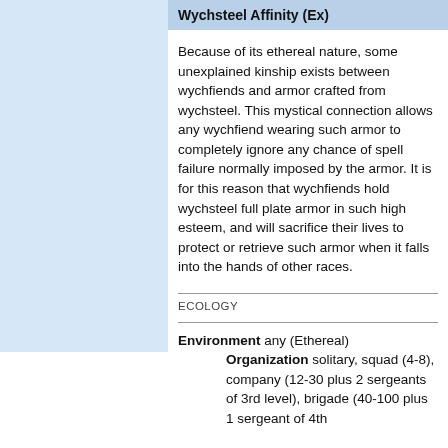Wychsteel Affinity (Ex)
Because of its ethereal nature, some unexplained kinship exists between wychfiends and armor crafted from wychsteel. This mystical connection allows any wychfiend wearing such armor to completely ignore any chance of spell failure normally imposed by the armor. It is for this reason that wychfiends hold wychsteel full plate armor in such high esteem, and will sacrifice their lives to protect or retrieve such armor when it falls into the hands of other races.
ECOLOGY
Environment any (Ethereal) Organization solitary, squad (4-8), company (12-30 plus 2 sergeants of 3rd level), brigade (40-100 plus 1 sergeant of 4th